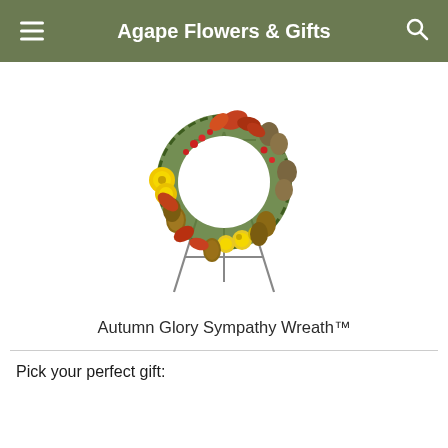Agape Flowers & Gifts
[Figure (photo): Autumn Glory Sympathy Wreath on a metal easel stand. The wreath is circular with a moss base, decorated with yellow chrysanthemums, yellow roses, autumn/fall foliage in orange and red, pine cones, lotus pods, and red berries.]
Autumn Glory Sympathy Wreath™
Pick your perfect gift: